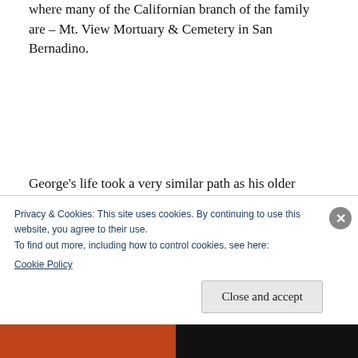where many of the Californian branch of the family are – Mt. View Mortuary & Cemetery in San Bernadino.
George's life took a very similar path as his older brothers. He was born on January 10, 1856 in East Whitby, before the family moved to Darlington. In his early twenties, the 1881
Privacy & Cookies: This site uses cookies. By continuing to use this website, you agree to their use.
To find out more, including how to control cookies, see here:
Cookie Policy
Close and accept